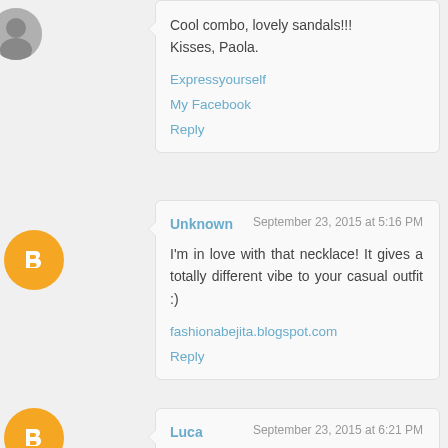Cool combo, lovely sandals!!! Kisses, Paola.
Expressyourself
My Facebook
Reply
Unknown
September 23, 2015 at 5:16 PM
I'm in love with that necklace! It gives a totally different vibe to your casual outfit :)
fashionabejita.blogspot.com
Reply
Luca
September 23, 2015 at 6:21 PM